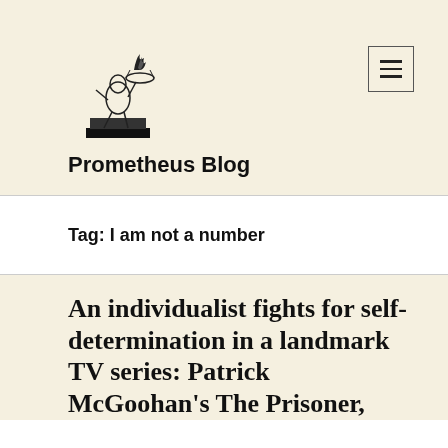[Figure (logo): Prometheus figure logo — a stylized character holding a flaming bowl aloft, standing on a pedestal, drawn in black line art]
Prometheus Blog
Tag: I am not a number
An individualist fights for self-determination in a landmark TV series: Patrick McGoohan's The Prisoner,